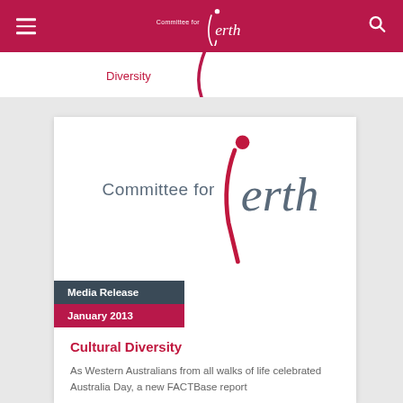Committee for Perth — navigation bar with hamburger menu and search icon
Diversity
[Figure (logo): Committee for Perth logo — stylized red figure forming the letter P in 'Perth', with grey text 'Committee for' and grey italic 'Perth']
Media Release
January 2013
Cultural Diversity
As Western Australians from all walks of life celebrated Australia Day, a new FACTBase report